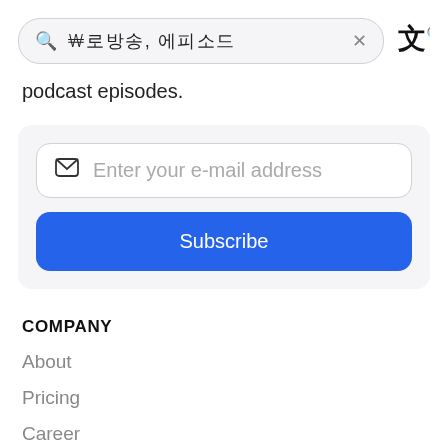[Figure (screenshot): Search bar with Korean placeholder text, clear X button, and translate icon button on the right]
podcast episodes.
[Figure (screenshot): Email input field with envelope icon and placeholder 'Enter your e-mail address', and a blue Subscribe button below]
COMPANY
About
Pricing
Career
Contact Us